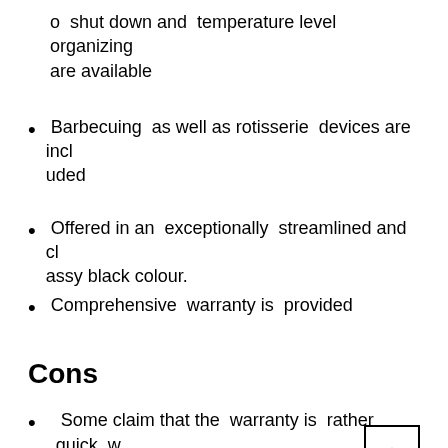o  shut down and  temperature level  organizing are available
Barbecuing  as well as rotisserie  devices are included
Offered in an  exceptionally  streamlined and  classy black colour.
Comprehensive  warranty is  provided
Cons
Some claim that the  warranty is  rather quick, which is  just a  judgment of 2 months
Final Verdict